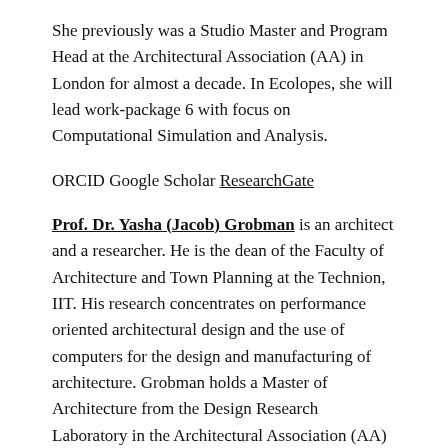She previously was a Studio Master and Program Head at the Architectural Association (AA) in London for almost a decade. In Ecolopes, she will lead work-package 6 with focus on Computational Simulation and Analysis.
ORCID Google Scholar ResearchGate
Prof. Dr. Yasha (Jacob) Grobman is an architect and a researcher. He is the dean of the Faculty of Architecture and Town Planning at the Technion, IIT. His research concentrates on performance oriented architectural design and the use of computers for the design and manufacturing of architecture. Grobman holds a Master of Architecture from the Design Research Laboratory in the Architectural Association (AA) London and a PhD from the Technion Israel Institute of Technology. He has been a postdoctoral fellow in Harvard Graduate School of Design (GSD). Grobman is the author of more than 70